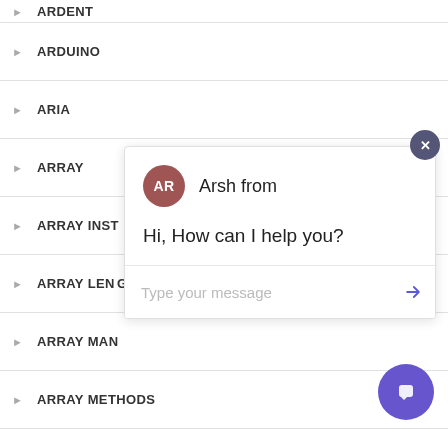ARDENT
ARDUINO
ARIA
ARRAY
ARRAY INST
ARRAY LENG
ARRAY MAN
ARRAY METHODS
ARRAY.PROTOTYPE.INCLUDES
ARRAYS
[Figure (screenshot): Chat popup widget with avatar showing 'AR' for Arsh, greeting message 'Hi, How can I help you?', and a text input field with 'Type your message' placeholder and send button. A close button (x) appears at top right. A purple chat widget button appears at bottom right.]